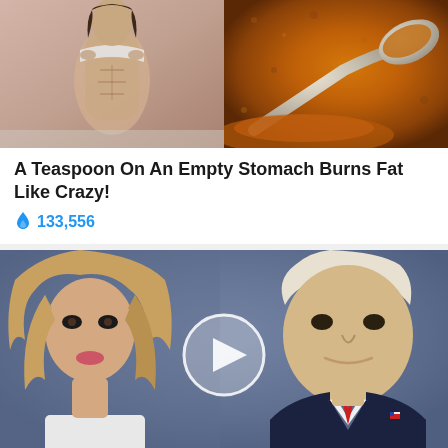[Figure (photo): Split image: left side shows a fitness person lifting shirt to reveal abs; right side shows a spoonful of reddish-brown spice powder]
A Teaspoon On An Empty Stomach Burns Fat Like Crazy!
🔥 133,556
[Figure (photo): Photo of a woman with long blonde hair and a man in suit with red tie, with a circular play button overlay in the center]
Top Democrats Fear This Video Getting